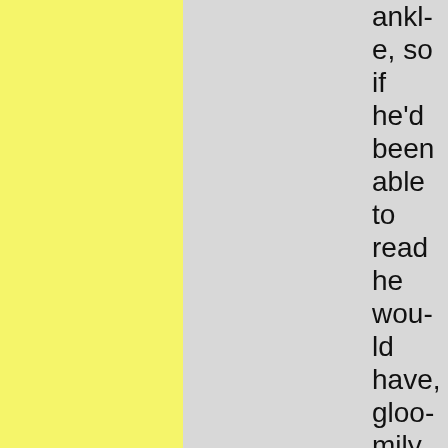ankle, so if he'd been able to read he would have, gloomily, accepted it.

Colin akrit...